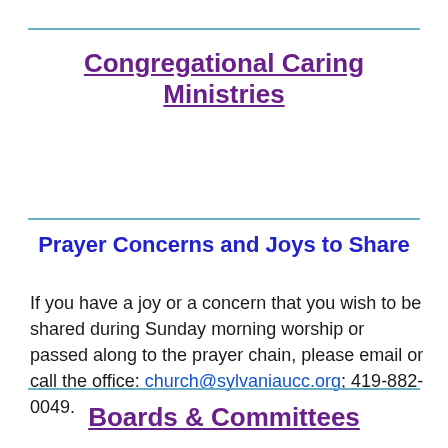Congregational Caring Ministries
Prayer Concerns and Joys to Share
If you have a joy or a concern that you wish to be shared during Sunday morning worship or passed along to the prayer chain, please email or call the office: church@sylvaniaucc.org; 419-882-0049.
Boards & Committees